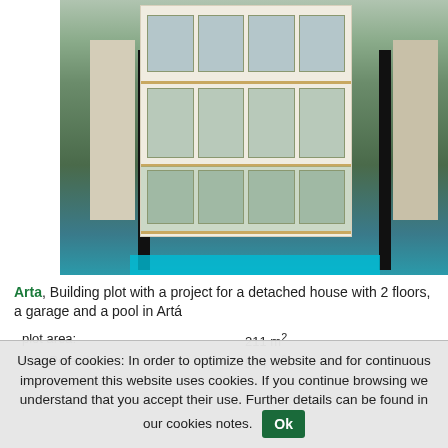[Figure (photo): Modern two-story detached house render with large glass windows, wooden framing, pool in foreground, trees in background]
Arta, Building plot with a project for a detached house with 2 floors, a garage and a pool in Artá
| plot area: | 211 m² |
| dev. Potential: | 574 m² |
| building permit: | - |
| price: | € 189,000 |
Usage of cookies: In order to optimize the website and for continuous improvement this website uses cookies. If you continue browsing we understand that you accept their use. Further details can be found in our cookies notes. Ok